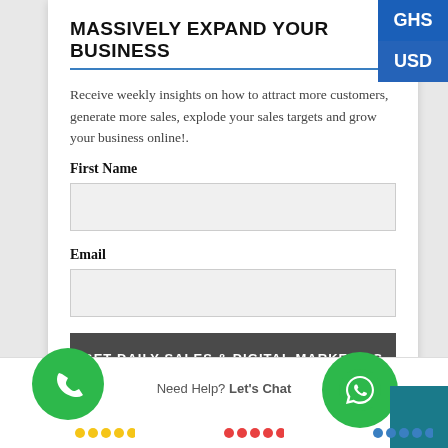MASSIVELY EXPAND YOUR BUSINESS
Receive weekly insights on how to attract more customers, generate more sales, explode your sales targets and grow your business online!.
First Name
Email
GET DAILY SALES & DIGITAL MARKETING INSIGHTS
Need Help? Let's Chat